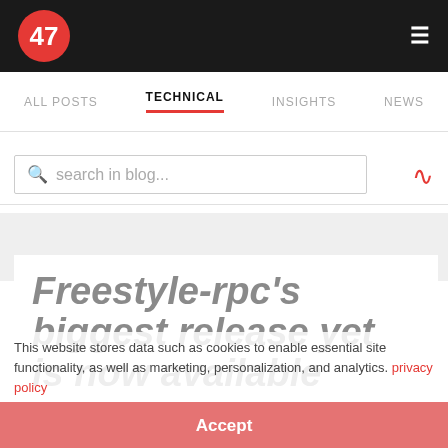47
≡
ALL POSTS   TECHNICAL   INSIGHTS   NEWS
search in blog...
Freestyle-rpc's biggest release yet is now available
This website stores data such as cookies to enable essential site functionality, as well as marketing, personalization, and analytics. privacy policy
Accept
Deny